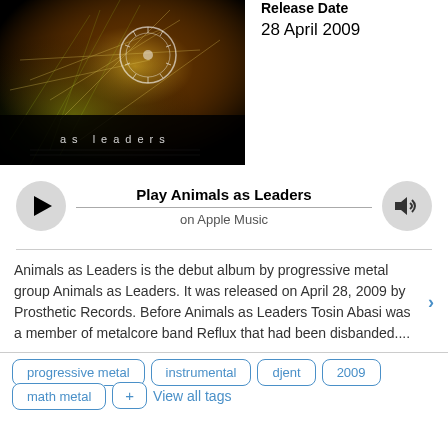[Figure (photo): Album cover art for Animals as Leaders - abstract organic/cosmic design with orange, green, yellow colors on dark background with text 'as leaders']
Release Date
28 April 2009
[Figure (other): Apple Music player bar with play button, 'Play Animals as Leaders on Apple Music' text, and volume button]
Animals as Leaders is the debut album by progressive metal group Animals as Leaders. It was released on April 28, 2009 by Prosthetic Records. Before Animals as Leaders Tosin Abasi was a member of metalcore band Reflux that had been disbanded....
progressive metal
instrumental
djent
2009
math metal
View all tags